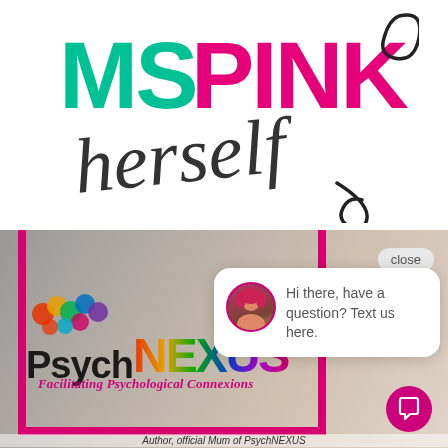[Figure (logo): MS PINK herself logo — 'MS' in teal, 'PINK' in magenta block letters, 'herself' in dark grey handwritten script below, with a looping decorative curl]
[Figure (screenshot): Screenshot of a website showing a PsychNEXUS logo (colourful dots, bold text 'PsychNEXUS', subtitle 'Facilitating Psychological Connexions'), overlaid with a chat popup widget saying 'Hi there, have a question? Text us here.' with a close button and chat icon button. Background shows a partial photo.]
Author, official Mum of PsychNEXUS